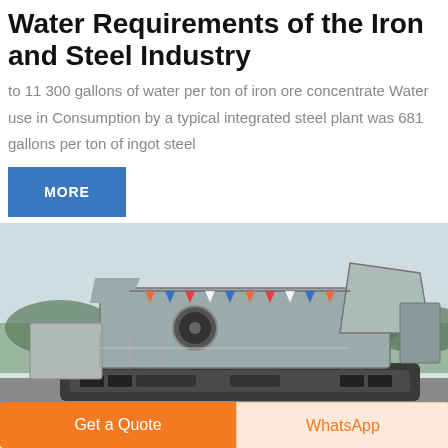Water Requirements of the Iron and Steel Industry
to 11 300 gallons of water per ton of iron ore concentrate Water use in Consumption by a typical integrated steel plant was 681 gallons per ton of ingot steel
MORE
[Figure (photo): Large industrial vibrating screen / crushing machine on a tracked mobile platform, decorated with colorful bunting flags, photographed outdoors.]
Get a Quote
WhatsApp